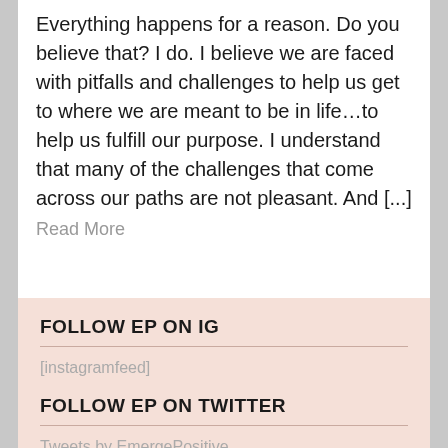Everything happens for a reason.  Do you believe that?  I do.  I believe we are faced with pitfalls and challenges to help us get to where we are meant to be in life…to help us fulfill our purpose.  I understand that many of the challenges that come across our paths are not pleasant.  And [...]
Read More
FOLLOW EP ON IG
[instagramfeed]
FOLLOW EP ON TWITTER
Tweets by EmergePositive